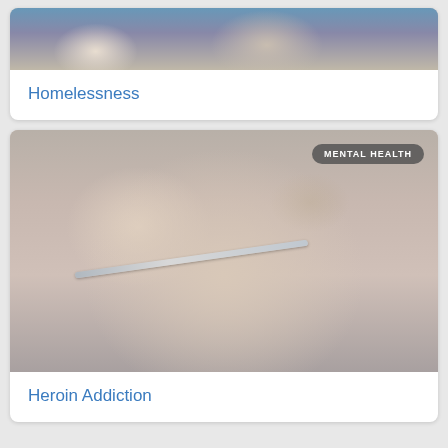[Figure (photo): Photo of two people in discussion, partially visible, showing hands and torsos, suggesting a counseling or support session.]
Homelessness
[Figure (photo): Close-up photo of a hand holding drug paraphernalia including a syringe and foil, with a 'MENTAL HEALTH' badge overlay in the top right corner.]
Heroin Addiction